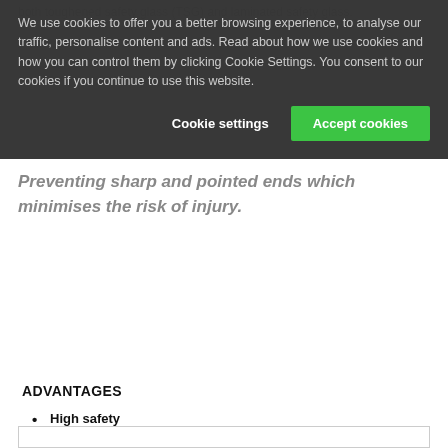both toughened safety glass (TSG) and laminated safety glass.
We use cookies to offer you a better browsing experience, to analyse our traffic, personalise content and ads. Read about how we use cookies and how you can control them by clicking Cookie Settings. You consent to our cookies if you continue to use this website.
Preventing sharp and pointed ends which minimises the risk of injury.
ADVANTAGES
High safety
More sound insulation
Ideal for XL formats
Frosted finish possible on both sides
Highest opacity possible
More aesthetics
Rich sound when closing